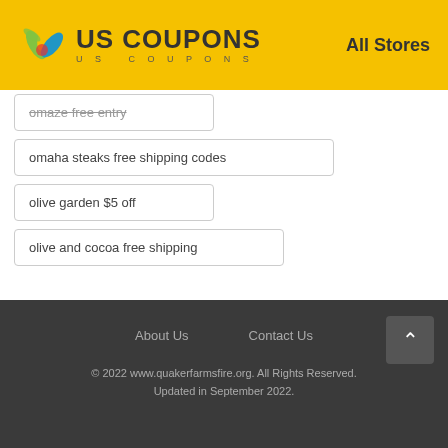US COUPONS  |  All Stores
omaze free entry
omaha steaks free shipping codes
olive garden $5 off
olive and cocoa free shipping
About Us   Contact Us   © 2022 www.quakerfarmsfire.org. All Rights Reserved. Updated in September 2022.